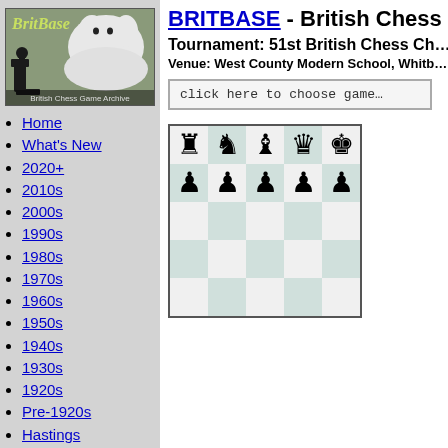[Figure (photo): BritBase logo with cat and chess pieces, captioned 'British Chess Game Archive']
Home
What's New
2020+
2010s
2000s
1990s
1980s
1970s
1960s
1950s
1940s
1930s
1920s
Pre-1920s
Hastings
British Champions
Gibraltar
BRITBASE - British Chess Game Archive
Tournament: 51st British Chess Championship
Venue: West County Modern School, Whitby
click here to choose game
[Figure (illustration): Chess board showing 5 columns and 3 visible rows with white major pieces on rank 8, black pawns on rank 7, empty squares below]